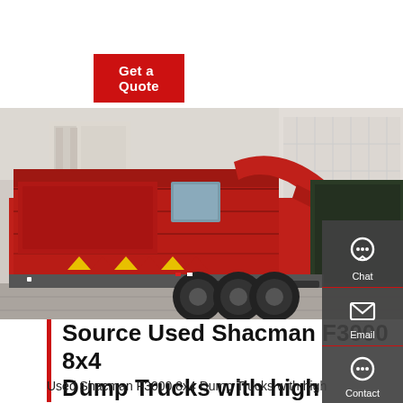Get a Quote
[Figure (photo): Red Shacman F3000 8x4 dump/garbage truck parked in a yard with buildings in background. Multiple trucks visible. Rear view showing compactor body with yellow reflective chevrons and rear axles.]
Source Used Shacman F3000 8x4 Dump Trucks with high
Used Shacman F3000 8x4 Dump Trucks with high